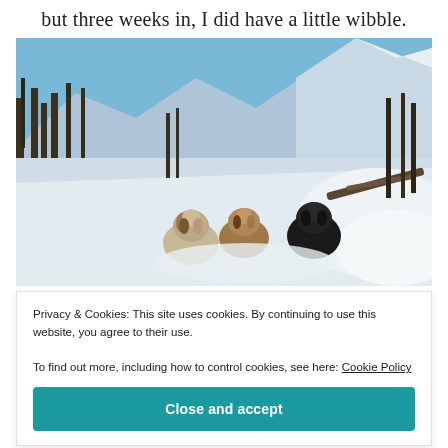but three weeks in, I did have a little wibble.
[Figure (photo): Three dogs (two spaniels and one black poodle/doodle) sitting on a snowy mountain trail surrounded by pine trees, with bright blue sky and snow-covered mountain peaks in the background.]
Privacy & Cookies: This site uses cookies. By continuing to use this website, you agree to their use.
To find out more, including how to control cookies, see here: Cookie Policy
Close and accept
...